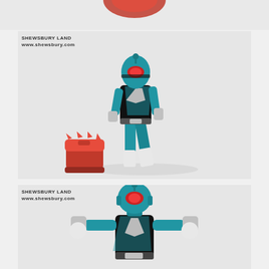[Figure (photo): Partial top of page showing a cropped red circular object or figure at the top center against a light gray background.]
[Figure (photo): Action figure of a blue and black Kamen Rider-style character in a dynamic pose, with a red boot accessory placed separately on the surface. Watermark reads SHEWSBURY LAND www.shewsbury.com.]
[Figure (photo): Same blue and black Kamen Rider-style action figure shown from the front upper body, arms outstretched. Watermark reads SHEWSBURY LAND www.shewsbury.com.]